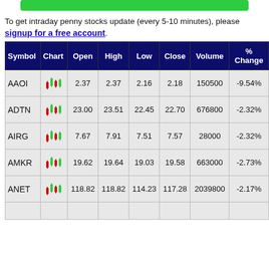To get intraday penny stocks update (every 5-10 minutes), please signup for a free account.
| Symbol | Chart | Open | High | Low | Close | Volume | % Change |
| --- | --- | --- | --- | --- | --- | --- | --- |
| AAOI | [chart] | 2.37 | 2.37 | 2.16 | 2.18 | 150500 | -9.54% |
| ADTN | [chart] | 23.00 | 23.51 | 22.45 | 22.70 | 676800 | -2.32% |
| AIRG | [chart] | 7.67 | 7.91 | 7.51 | 7.57 | 28000 | -2.32% |
| AMKR | [chart] | 19.62 | 19.64 | 19.03 | 19.58 | 663000 | -2.73% |
| ANET | [chart] | 118.82 | 118.82 | 114.23 | 117.28 | 2039800 | -2.17% |